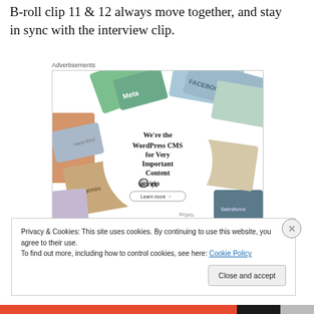B-roll clip 11 & 12 always move together, and stay in sync with the interview clip.
Advertisements
[Figure (other): WordPress VIP advertisement banner showing colorful brand cards/logos in the background with a white circle overlay containing text 'We're the WordPress CMS for Very Important Content', a WordPress VIP logo, and a 'Learn more' button.]
Privacy & Cookies: This site uses cookies. By continuing to use this website, you agree to their use.
To find out more, including how to control cookies, see here: Cookie Policy
Close and accept